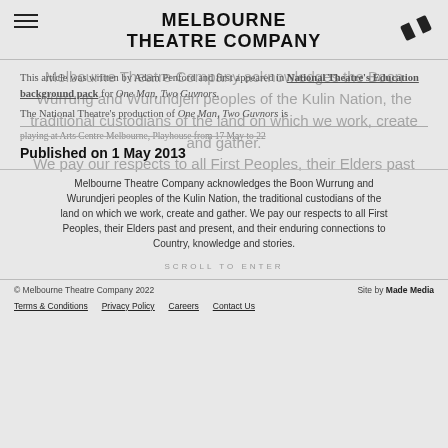MELBOURNE THEATRE COMPANY
This article was written by Adam Penford and first appeared in National Theatre's Education background pack for One Man, Two Guvnors.
The National Theatre's production of One Man, Two Guvnors is playing at Arts Centre Melbourne, Playhouse from 17 May to 22
Published on 1 May 2013
Melbourne Theatre Company acknowledges the Boon Wurrung and Wurundjeri peoples of the Kulin Nation, the traditional custodians of the land on which we work, create and gather. We pay our respects to all First Peoples, their Elders past and present, and their enduring connections to Country, knowledge and stories.
© Melbourne Theatre Company 2022   Site by Made Media   Terms & Conditions   Privacy Policy   Careers   Contact Us